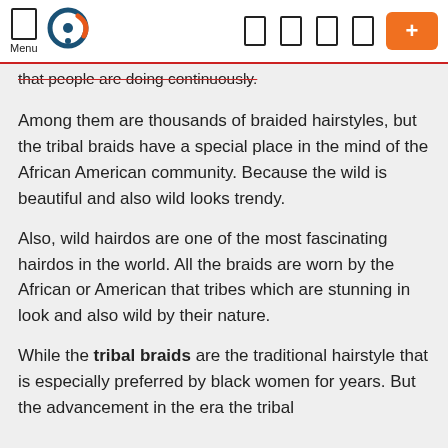Menu [logo] [nav icons] [+ button]
that people are doing continuously.
Among them are thousands of braided hairstyles, but the tribal braids have a special place in the mind of the African American community. Because the wild is beautiful and also wild looks trendy.
Also, wild hairdos are one of the most fascinating hairdos in the world. All the braids are worn by the African or American that tribes which are stunning in look and also wild by their nature.
While the tribal braids are the traditional hairstyle that is especially preferred by black women for years. But the advancement in the era the tribal